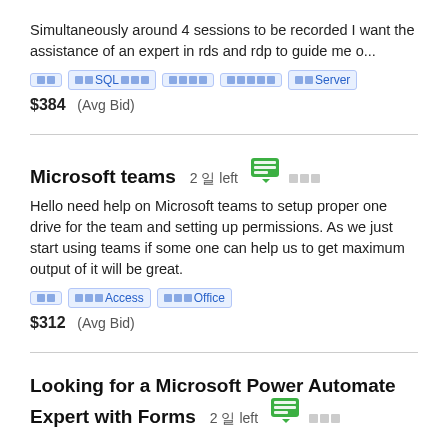Simultaneously around 4 sessions to be recorded I want the assistance of an expert in rds and rdp to guide me o...
태그  태그SQL 태그태그  태그태그태그  태그태그태그  태그태그 Server
$384  (Avg Bid)
Microsoft teams  2 일 left
Hello need help on Microsoft teams to setup proper one drive for the team and setting up permissions. As we just start using teams if some one can help us to get maximum output of it will be great.
태그  태그태그Access  태그태그Office
$312  (Avg Bid)
Looking for a Microsoft Power Automate Expert with Forms  2 일 left